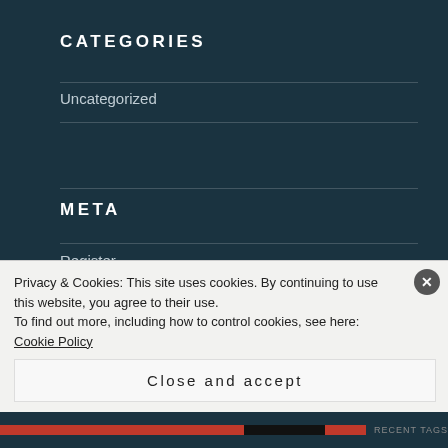CATEGORIES
Uncategorized
META
Register
Log in
Privacy & Cookies: This site uses cookies. By continuing to use this website, you agree to their use.
To find out more, including how to control cookies, see here: Cookie Policy
Close and accept